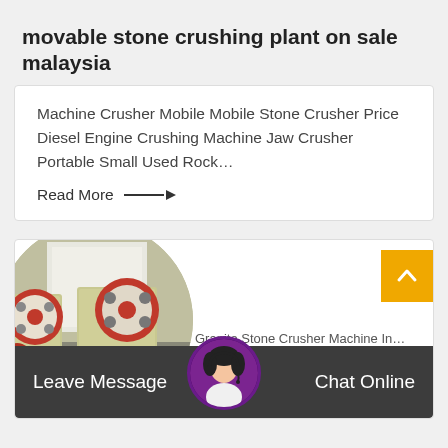movable stone crushing plant on sale malaysia
Machine Crusher Mobile Mobile Stone Crusher Price Diesel Engine Crushing Machine Jaw Crusher Portable Small Used Rock…
Read More →
[Figure (photo): Circular cropped photo of a stone jaw crusher machine with red and beige components in an industrial setting]
Granite Stone Crusher Machine In…
Leave Message
Chat Online